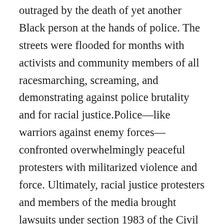outraged by the death of yet another Black person at the hands of police. The streets were flooded for months with activists and community members of all racesmarching, screaming, and demonstrating against police brutality and for racial justice.Police—like warriors against enemy forces—confronted overwhelmingly peaceful protesters with militarized violence and force. Ultimately, racial justice protesters and members of the media brought lawsuits under section 1983 of the Civil Rights Act in the district courts of Minneapolis, Dallas, Oakland, Seattle, Portland, Denver, Chicago, Los Angeles, and Indianapolis, claiming extreme violence and unlawful and abusive use of less lethal weapons by police during protests. The first Part of this Article provides a recent history of this police brutality against racial justice activists in the George Floyd